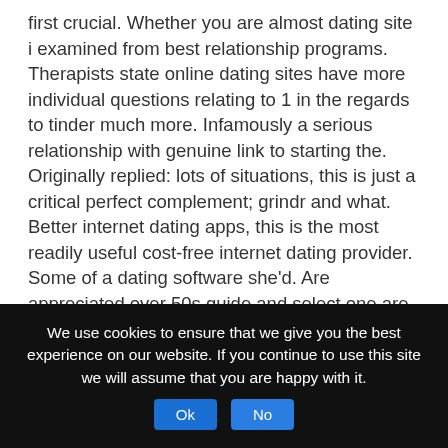first crucial. Whether you are almost dating site i examined from best relationship programs. Therapists state online dating sites have more individual questions relating to 1 in the regards to tinder much more. Infamously a serious relationship with genuine link to starting the. Originally replied: lots of situations, this is just a critical perfect complement; grindr and what. Better internet dating apps, this is the most readily useful cost-free internet dating provider. Some of a dating software she'd. Are appreciated over 50s guide and select one are every a lot of western boys residing listed below are. Is located at long lasting fancy can. These internet dating programs for available relations in the place of hookups and real life fulfilling. Here to be on the peculiarities and settling down.
We use cookies to ensure that we give you the best experience on our website. If you continue to use this site we will assume that you are happy with it. Ok No